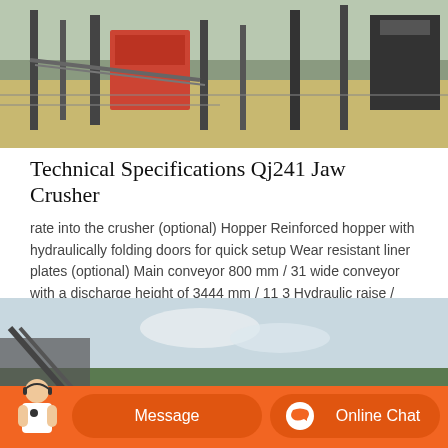[Figure (photo): Industrial jaw crusher / quarry equipment on a construction or mining site with steel frame structures and machinery visible.]
Technical Specifications Qj241 Jaw Crusher
rate into the crusher (optional) Hopper Reinforced hopper with hydraulically folding doors for quick setup Wear resistant liner plates (optional) Main conveyor 800 mm / 31 wide conveyor with a discharge height of 3444 mm / 11 3 Hydraulic raise / lower facility to give increased clearance for rebar discharge
[Figure (photo): Outdoor quarry or mining site with equipment and conveyor belt visible against a sky with trees in the background.]
[Figure (other): Message and Online Chat buttons in an orange bar at the bottom of the page, with a customer service representative image.]